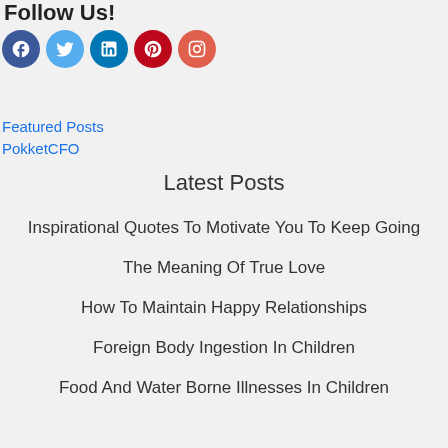Follow Us!
[Figure (infographic): Row of five social media icons: Facebook (dark blue circle with f), Twitter (light blue circle with bird), LinkedIn (medium blue circle with in), Pinterest (dark red circle with P), Instagram (red-orange circle with camera)]
Featured Posts
PokketCFO
Latest Posts
Inspirational Quotes To Motivate You To Keep Going
The Meaning Of True Love
How To Maintain Happy Relationships
Foreign Body Ingestion In Children
Food And Water Borne Illnesses In Children